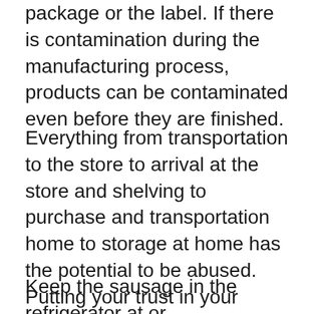package or the label. If there is contamination during the manufacturing process, products can be contaminated even before they are finished.
Everything from transportation to the store to arrival at the store and shelving to purchase and transportation home to storage at home has the potential to be abused. Putting your trust in your intuition rather than your gut will ensure that any date will be a success.
Keep the sausage in the refrigerator at or